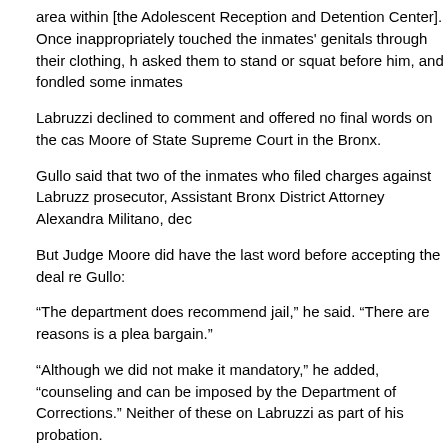area within [the Adolescent Reception and Detention Center]. Once inappropriately touched the inmates' genitals through their clothing, asked them to stand or squat before him, and fondled some inmates
Labruzzi declined to comment and offered no final words on the case Moore of State Supreme Court in the Bronx.
Gullo said that two of the inmates who filed charges against Labruzz prosecutor, Assistant Bronx District Attorney Alexandra Militano, dec
But Judge Moore did have the last word before accepting the deal re Gullo:
“The department does recommend jail,” he said. “There are reasons is a plea bargain.”
“Although we did not make it mandatory,” he added, “counseling and can be imposed by the Department of Corrections.” Neither of these on Labruzzi as part of his probation.